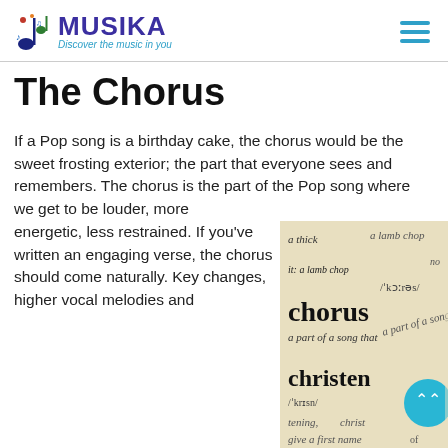MUSIKA — Discover the music in you
The Chorus
If a Pop song is a birthday cake, the chorus would be the sweet frosting exterior; the part that everyone sees and remembers. The chorus is the part of the Pop song where we get to be louder, more energetic, less restrained. If you've written an engaging verse, the chorus should come naturally. Key changes, higher vocal melodies and
[Figure (photo): Close-up photograph of a dictionary page showing the entry for 'chorus' with phonetic transcription /ˈkɔːrəs/ and definition 'a part of a song that', followed by the entry for 'christen' with phonetic transcription /ˈkrɪsn/. Background shows partial entries including 'a thick' and 'a lamb chop'.]